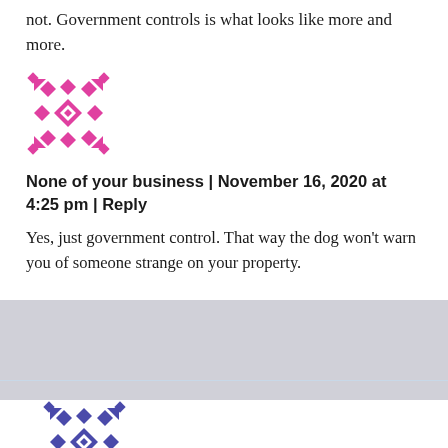not. Government controls is what looks like more and more.
[Figure (illustration): Pink geometric kaleidoscope-style avatar image]
None of your business | November 16, 2020 at 4:25 pm | Reply
Yes, just government control. That way the dog won't warn you of someone strange on your property.
[Figure (illustration): Blue/purple geometric kaleidoscope-style avatar image]
William M... | November 16, 2020 at 1:10 pm | ...